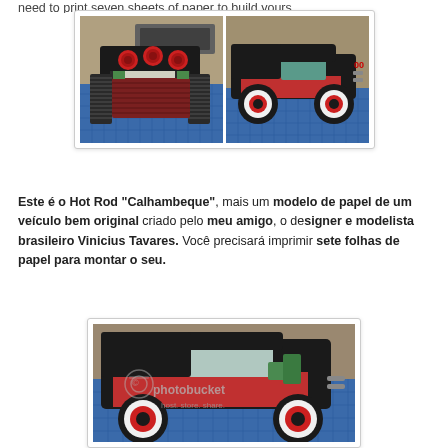need to print seven sheets of paper to build yours.
[Figure (photo): Two photos side by side of a paper model Hot Rod car (Calhambeque). Left photo shows front/engine view with red round exhausts and accordion-style tires. Right photo shows side view of the assembled black and red hot rod paper model car.]
Este é o Hot Rod "Calhambeque", mais um modelo de papel de um veículo bem original criado pelo meu amigo, o designer e modelista brasileiro Vinicius Tavares. Você precisará imprimir sete folhas de papel para montar o seu.
[Figure (photo): Large photo of the paper model Hot Rod Calhambeque car showing side profile on a blue cutting mat. The model is black and red with large white-walled wheels and visible engine details. Photobucket watermark visible.]